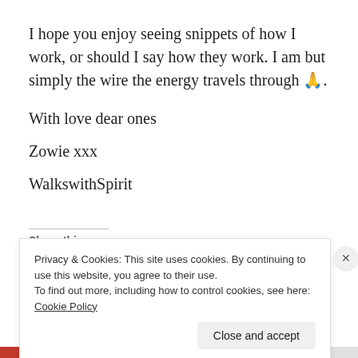I hope you enjoy seeing snippets of how I work, or should I say how they work. I am but simply the wire the energy travels through 🙏.
With love dear ones
Zowie xxx
WalkswithSpirit
Share this:
Privacy & Cookies: This site uses cookies. By continuing to use this website, you agree to their use. To find out more, including how to control cookies, see here: Cookie Policy